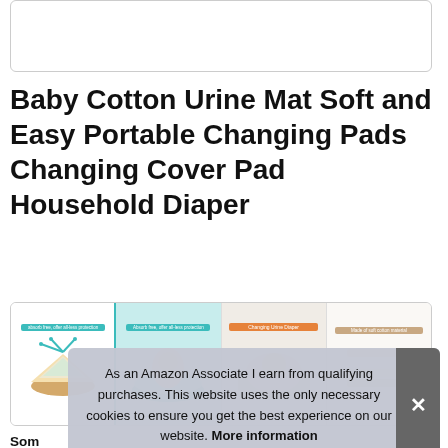[Figure (photo): Top portion of a product image (partially visible, cut off at top)]
Baby Cotton Urine Mat Soft and Easy Portable Changing Pads Changing Cover Pad Household Diaper
[Figure (photo): Row of four product thumbnail images: 1) diagram showing absorption layers with teal label 'absorb free, offer all-less protection'; 2) baby lying on teal changing mat with teal label; 3) baby on 'Changing Urine Diaper' mat with orange label; 4) 'Made of soft cotton material' cross-section diagram]
As an Amazon Associate I earn from qualifying purchases. This website uses the only necessary cookies to ensure you get the best experience on our website. More information
Som soft mak simple and convenient to use. It is very suitable for babies to